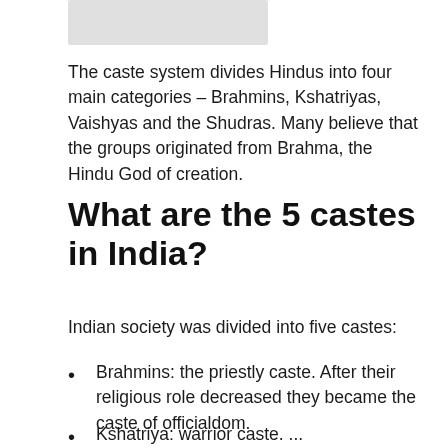The caste system divides Hindus into four main categories – Brahmins, Kshatriyas, Vaishyas and the Shudras. Many believe that the groups originated from Brahma, the Hindu God of creation.
What are the 5 castes in India?
Indian society was divided into five castes:
Brahmins: the priestly caste. After their religious role decreased they became the caste of officialdom.
Kshatriya: warrior caste. ...
Vaisya: the commoner caste.